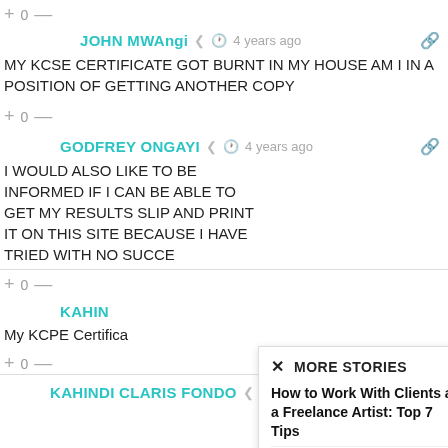+ 0 —
JOHN MWAngi  4 years ago
MY KCSE CERTIFICATE GOT BURNT IN MY HOUSE AM I IN A POSITION OF GETTING ANOTHER COPY
+ 0 —
GODFREY ONGAYI  4 years ago
I WOULD ALSO LIKE TO BE INFORMED IF I CAN BE ABLE TO GET MY RESULTS SLIP AND PRINT IT ON THIS SITE BECAUSE I HAVE TRIED WITH NO SUCCE
+ 0 —
KAHIN...
My KCPE Certifica...
+ 0 —
[Figure (screenshot): Popup overlay showing MORE STORIES with link: How to Work With Clients as a Freelance Artist: Top 7 Tips by Infolinks Team, June 10, 2022 7:05 pm]
KAHINDI CLARIS FONDO  4 years ago